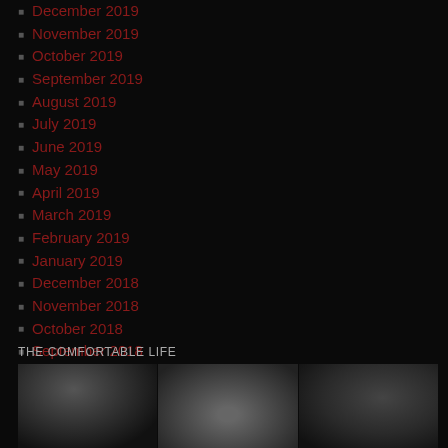December 2019
November 2019
October 2019
September 2019
August 2019
July 2019
June 2019
May 2019
April 2019
March 2019
February 2019
January 2019
December 2018
November 2018
October 2018
September 2018
THE COMFORTABLE LIFE
[Figure (photo): Black and white triptych image showing three panels: a grotesque face/monster on the left, a person with head down in the center, and a detailed textured monster/creature on the right.]